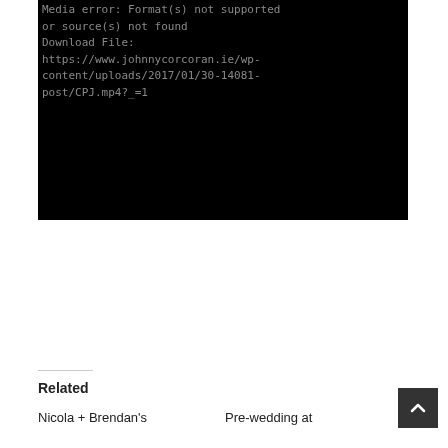[Figure (screenshot): Black video player area showing a media error message in monospace font: 'Media error: Format(s) not supported or source(s) not found Download File: https://www.johnnycorcoran.ie/wp-content/uploads/2017/01/30-14081-post/CPJ.mp4?_=1']
Related
Nicola + Brendan's
Pre-wedding at